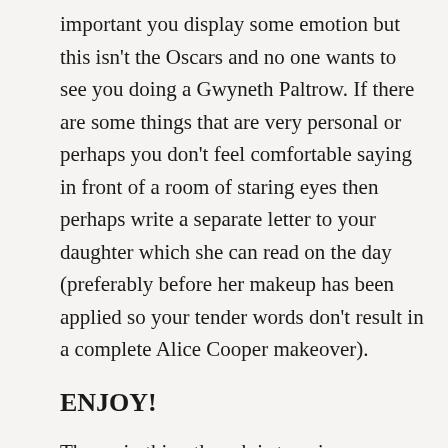important you display some emotion but this isn't the Oscars and no one wants to see you doing a Gwyneth Paltrow. If there are some things that are very personal or perhaps you don't feel comfortable saying in front of a room of staring eyes then perhaps write a separate letter to your daughter which she can read on the day (preferably before her makeup has been applied so your tender words don't result in a complete Alice Cooper makeover).
ENJOY!
The main thing though is to enjoy every minute of the big day, it will come and go in a flash so take time to soak up the occasion. And